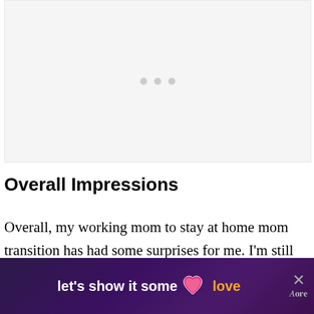[Figure (other): Light grey placeholder box with three grey dots in the center, representing a loading or advertisement placeholder area]
Overall Impressions
Overall, my working mom to stay at home mom transition has had some surprises for me. I'm still working on getting into a groove as a stay at home … a little bit li… w°
[Figure (other): Dark purple advertisement banner overlay reading 'let's show it some love' with a pink heart icon, yellow word 'love', and a close X button on the right]